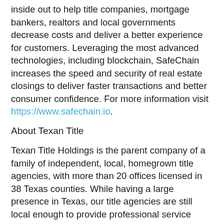inside out to help title companies, mortgage bankers, realtors and local governments decrease costs and deliver a better experience for customers. Leveraging the most advanced technologies, including blockchain, SafeChain increases the speed and security of real estate closings to deliver faster transactions and better consumer confidence. For more information visit https://www.safechain.io.
About Texan Title
Texan Title Holdings is the parent company of a family of independent, local, homegrown title agencies, with more than 20 offices licensed in 38 Texas counties. While having a large presence in Texas, our title agencies are still local enough to provide professional service